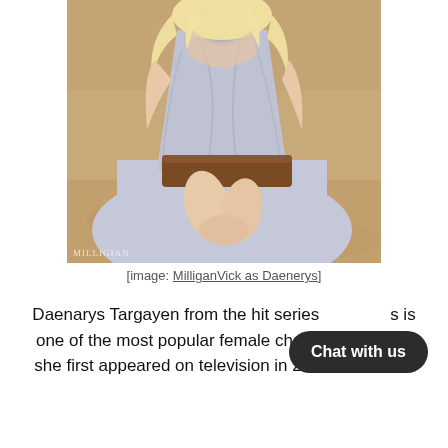[Figure (photo): A woman with long blonde hair wearing a light grey/lavender halter-style draped dress with a brown leather belt, sitting on sandy ground in a cosplay of Daenerys Targaryen from Game of Thrones. Photographer watermark 'MILLIGAN' visible at bottom left of photo.]
[image: MilliganVick as Daenerys]
Daenarys Targayen from the hit series is one of the most popular female characters since she first appeared on television in 2011. And that's